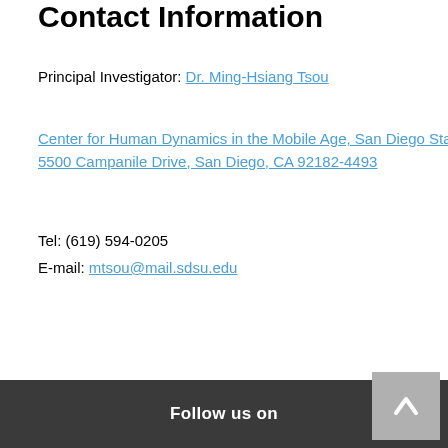Contact Information
Principal Investigator: Dr. Ming-Hsiang Tsou
Center for Human Dynamics in the Mobile Age, San Diego State
5500 Campanile Drive, San Diego, CA 92182-4493
Tel: (619) 594-0205
E-mail: mtsou@mail.sdsu.edu
Follow us on